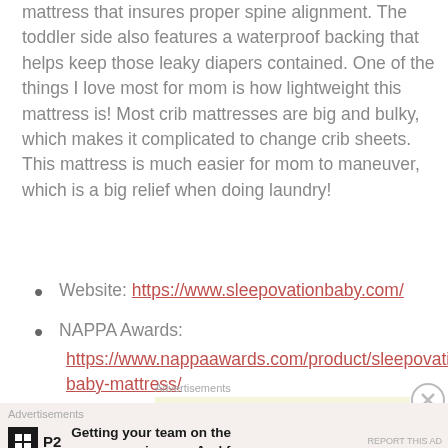mattress that insures proper spine alignment. The toddler side also features a waterproof backing that helps keep those leaky diapers contained. One of the things I love most for mom is how lightweight this mattress is! Most crib mattresses are big and bulky, which makes it complicated to change crib sheets. This mattress is much easier for mom to maneuver, which is a big relief when doing laundry!
Website: https://www.sleepovationbaby.com/
NAPPA Awards: https://www.nappaawards.com/product/sleepovation-baby-mattress/
[Figure (screenshot): Advertisement area showing 'Advertisements' label and a beige/tan colored ad box, with an X close button on the right side.]
[Figure (screenshot): Advertisement banner at bottom showing 'Advertisements' label, P2 logo icon, and text 'Getting your team on the same page is easy. And free.' with light pink background.]